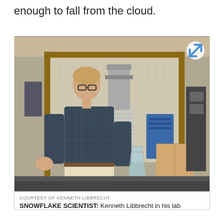enough to fall from the cloud.
[Figure (photo): A man (Kenneth Libbrecht) standing in front of laboratory equipment including scientific instruments on a pegboard, with a blue device, cardboard box, glass flasks, and other lab apparatus visible. He is wearing a plaid shirt and khaki pants.]
COURTESY OF KENNETH LIBBRECHT
SNOWFLAKE SCIENTIST: Kenneth Libbrecht in his lab